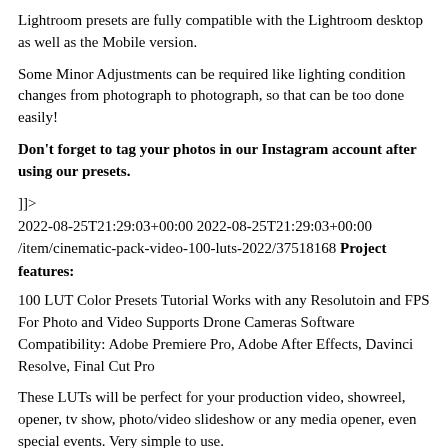Lightroom presets are fully compatible with the Lightroom desktop as well as the Mobile version.
Some Minor Adjustments can be required like lighting condition changes from photograph to photograph, so that can be too done easily!
Don't forget to tag your photos in our Instagram account after using our presets.
]]>
2022-08-25T21:29:03+00:00 2022-08-25T21:29:03+00:00
/item/cinematic-pack-video-100-luts-2022/37518168 Project features:
100 LUT Color Presets Tutorial Works with any Resolutoin and FPS For Photo and Video Supports Drone Cameras Software Compatibility: Adobe Premiere Pro, Adobe After Effects, Davinci Resolve, Final Cut Pro
These LUTs will be perfect for your production video, showreel, opener, tv show, photo/video slideshow or any media opener, even special events. Very simple to use.
]]>
Project features: